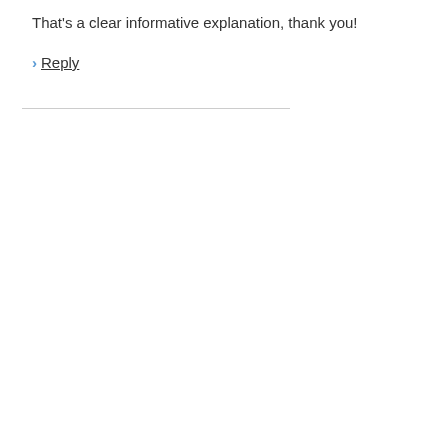That's a clear informative explanation, thank you!
> Reply